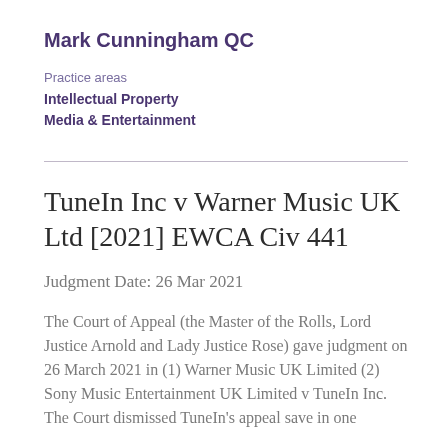Mark Cunningham QC
Practice areas
Intellectual Property
Media & Entertainment
TuneIn Inc v Warner Music UK Ltd [2021] EWCA Civ 441
Judgment Date: 26 Mar 2021
The Court of Appeal (the Master of the Rolls, Lord Justice Arnold and Lady Justice Rose) gave judgment on 26 March 2021 in (1) Warner Music UK Limited (2) Sony Music Entertainment UK Limited v TuneIn Inc. The Court dismissed TuneIn's appeal save in one